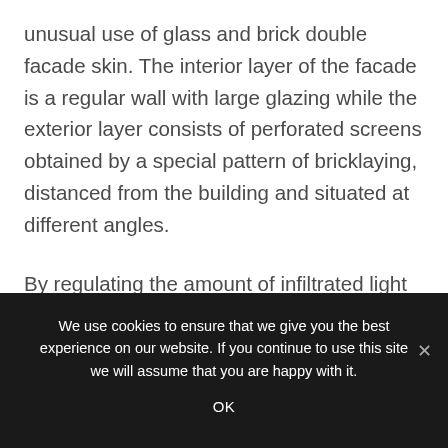unusual use of glass and brick double facade skin. The interior layer of the facade is a regular wall with large glazing while the exterior layer consists of perforated screens obtained by a special pattern of bricklaying, distanced from the building and situated at different angles.
By regulating the amount of infiltrated light in the summer the porous brick wall prevents the building from overheating. In the winter the brick takes part in warming the interior.
We use cookies to ensure that we give you the best experience on our website. If you continue to use this site we will assume that you are happy with it.
OK